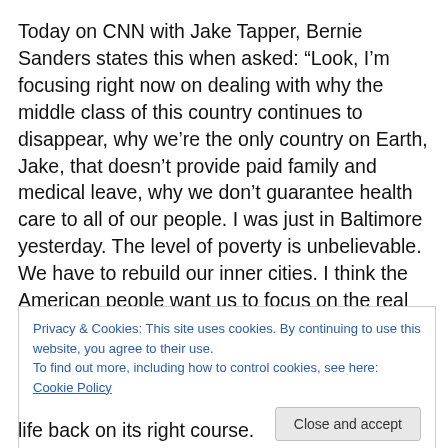Today on CNN with Jake Tapper, Bernie Sanders states this when asked: “Look, I’m focusing right now on dealing with why the middle class of this country continues to disappear, why we’re the only country on Earth, Jake, that doesn’t provide paid family and medical leave, why we don’t guarantee health care to all of our people. I was just in Baltimore yesterday. The level of poverty is unbelievable. We have to rebuild our inner cities. I think the American people want us to focus on the real issues
Privacy & Cookies: This site uses cookies. By continuing to use this website, you agree to their use.
To find out more, including how to control cookies, see here: Cookie Policy
life back on its right course.